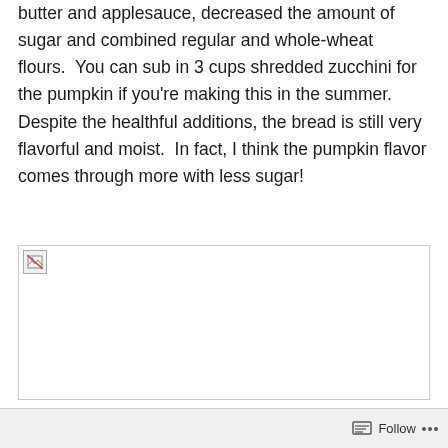butter and applesauce, decreased the amount of sugar and combined regular and whole-wheat flours.  You can sub in 3 cups shredded zucchini for the pumpkin if you're making this in the summer.  Despite the healthful additions, the bread is still very flavorful and moist.  In fact, I think the pumpkin flavor comes through more with less sugar!
[Figure (photo): A broken/unloaded image placeholder with a small broken image icon in the top-left corner, shown as a bordered rectangle.]
Follow ···